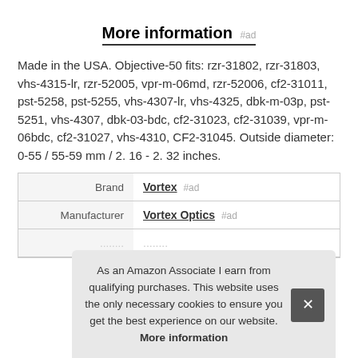More information #ad
Made in the USA. Objective-50 fits: rzr-31802, rzr-31803, vhs-4315-lr, rzr-52005, vpr-m-06md, rzr-52006, cf2-31011, pst-5258, pst-5255, vhs-4307-lr, vhs-4325, dbk-m-03p, pst-5251, vhs-4307, dbk-03-bdc, cf2-31023, cf2-31039, vpr-m-06bdc, cf2-31027, vhs-4310, CF2-31045. Outside diameter: 0-55 / 55-59 mm / 2. 16 - 2. 32 inches.
|  |  |
| --- | --- |
| Brand | Vortex #ad |
| Manufacturer | Vortex Optics #ad |
|  |  |
As an Amazon Associate I earn from qualifying purchases. This website uses the only necessary cookies to ensure you get the best experience on our website. More information